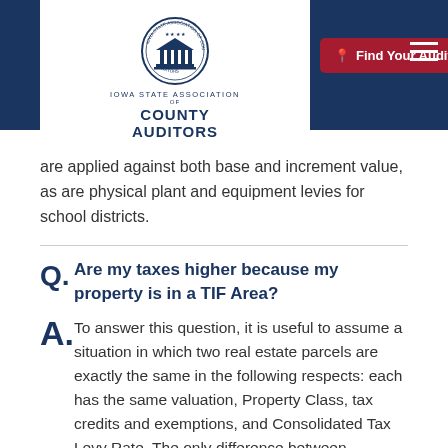[Figure (logo): Iowa State Association of County Auditors logo with circular seal and text]
are applied against both base and increment value, as are physical plant and equipment levies for school districts.
Q. Are my taxes higher because my property is in a TIF Area?
A. To answer this question, it is useful to assume a situation in which two real estate parcels are exactly the same in the following respects: each has the same valuation, Property Class, tax credits and exemptions, and Consolidated Tax Levy Rate. The only difference between them is that one is in a TIF Area and the other